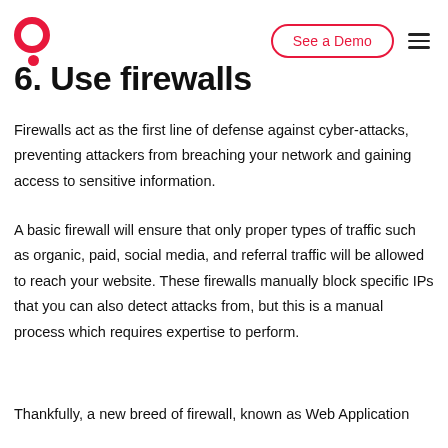See a Demo
6. Use firewalls
Firewalls act as the first line of defense against cyber-attacks, preventing attackers from breaching your network and gaining access to sensitive information.
A basic firewall will ensure that only proper types of traffic such as organic, paid, social media, and referral traffic will be allowed to reach your website. These firewalls manually block specific IPs that you can also detect attacks from, but this is a manual process which requires expertise to perform.
Thankfully, a new breed of firewall, known as Web Application